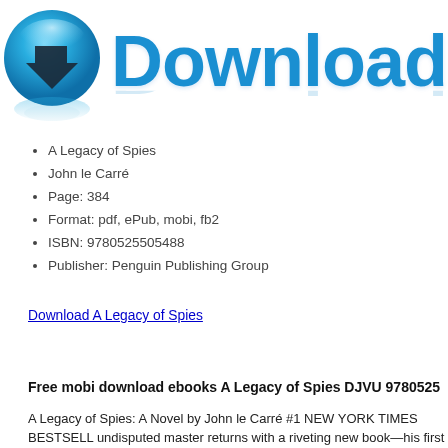[Figure (illustration): Download button graphic: a blue glossy circle with a dark downward arrow icon on the left, and the word 'Download' in large bold blue text on the right, with a reflection effect below.]
A Legacy of Spies
John le Carré
Page: 384
Format: pdf, ePub, mobi, fb2
ISBN: 9780525505488
Publisher: Penguin Publishing Group
Download A Legacy of Spies
Free mobi download ebooks A Legacy of Spies DJVU 9780525
A Legacy of Spies: A Novel by John le Carré #1 NEW YORK TIMES BESTSELL undisputed master returns with a riveting new book—his first Smiley novel in mo twenty-five years. Peter Guillam, staunch colleague and disciple of George Smil